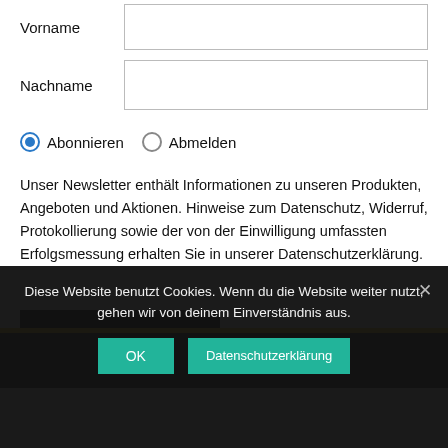Vorname
Nachname
Abonnieren   Abmelden
Unser Newsletter enthält Informationen zu unseren Produkten, Angeboten und Aktionen. Hinweise zum Datenschutz, Widerruf, Protokollierung sowie der von der Einwilligung umfassten Erfolgsmessung erhalten Sie in unserer Datenschutzerklärung.
ABSENDEN
Diese Website benutzt Cookies. Wenn du die Website weiter nutzt, gehen wir von deinem Einverständnis aus.
OK
Datenschutzerklärung